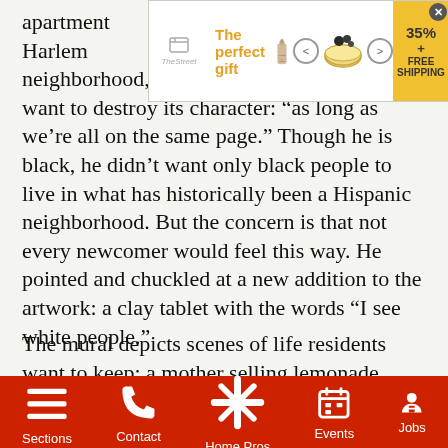[Figure (screenshot): Advertisement banner for 'The perfect gift' showing perfume bottle, decorative bowl, arrows, and a 35%+ FREE SHIPPING offer badge]
apartment of East Harlem who had lived here in the neighborhood, as long as newcomers didn't want to destroy its character: “as long as we’re all on the same page.” Though he is black, he didn’t want only black people to live in what has historically been a Hispanic neighborhood. But the concern is that not every newcomer would feel this way. He pointed and chuckled at a new addition to the artwork: a clay tablet with the words “I see white people.”
The mural depicts scenes of life residents want to keep: a mother selling lemonade, windows flying Puerto Rican, Mexican and American flags, two men sitting at a checkers board near a
Sections   Contact   Home Pros   Events   Jobs